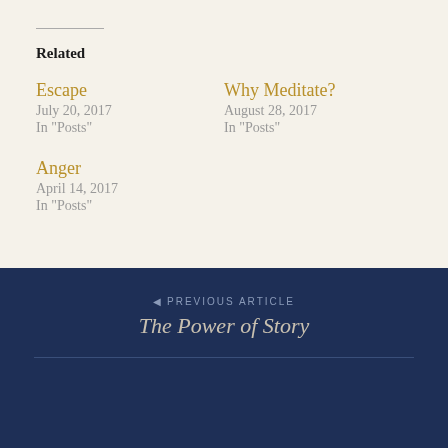Related
Escape
July 20, 2017
In "Posts"
Why Meditate?
August 28, 2017
In "Posts"
Anger
April 14, 2017
In "Posts"
◄ PREVIOUS ARTICLE
The Power of Story